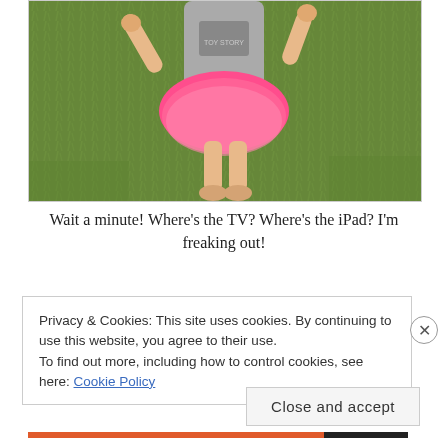[Figure (photo): Child wearing a gray Toy Story t-shirt and bright pink tutu skirt, standing barefoot on green grass, arms raised]
Wait a minute! Where's the TV? Where's the iPad? I'm freaking out!
Privacy & Cookies: This site uses cookies. By continuing to use this website, you agree to their use.
To find out more, including how to control cookies, see here: Cookie Policy
Close and accept